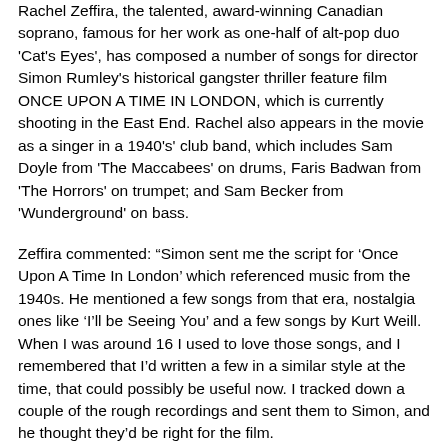Rachel Zeffira, the talented, award-winning Canadian soprano, famous for her work as one-half of alt-pop duo 'Cat's Eyes', has composed a number of songs for director Simon Rumley's historical gangster thriller feature film ONCE UPON A TIME IN LONDON, which is currently shooting in the East End. Rachel also appears in the movie as a singer in a 1940's' club band, which includes Sam Doyle from 'The Maccabees' on drums, Faris Badwan from 'The Horrors' on trumpet; and Sam Becker from 'Wunderground' on bass.
Zeffira commented: “Simon sent me the script for ‘Once Upon A Time In London’ which referenced music from the 1940s. He mentioned a few songs from that era, nostalgia ones like ‘I’ll be Seeing You’ and a few songs by Kurt Weill. When I was around 16 I used to love those songs, and I remembered that I’d written a few in a similar style at the time, that could possibly be useful now. I tracked down a couple of the rough recordings and sent them to Simon, and he thought they’d be right for the film.
She added “Our original choice for trumpet player, Chris Cotter, couldn’t make it, so I asked Faris if he could step in. Faris is 6 foot 6, has quite a distinct look which definitely isn’t